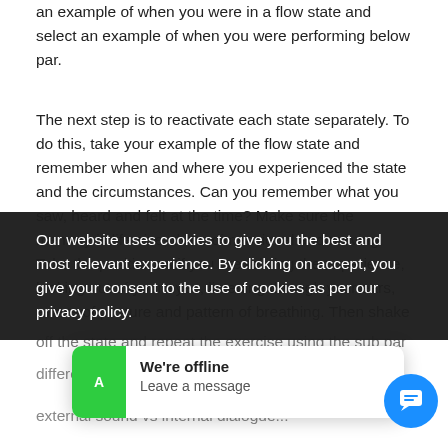an example of when you were in a flow state and select an example of when you were performing below par.
The next step is to reactivate each state separately. To do this, take your example of the flow state and remember when and where you experienced the state and the circumstances. Can you remember what you saw, heard and felt at the time? Make sure the memory is life size, three dimensional and moving. Take the position as if you are reliving the experience, looking out of your eyes, listening through your ears, aware of posture and pattern of breathing. Then shake off the state and repeat the exercise using the sub par
differences in... and attention w... external sound vs internal dialogue...
Our website uses cookies to give you the best and most relevant experience. By clicking on accept, you give your consent to the use of cookies as per our privacy policy.
We're offline
Leave a message